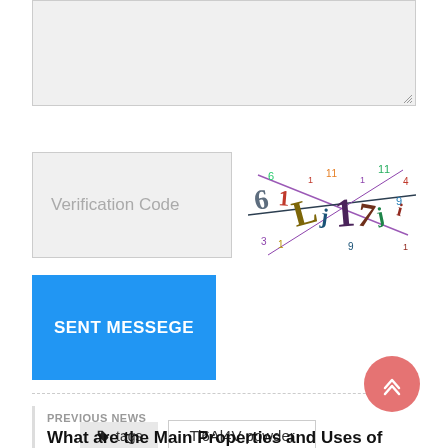[Figure (screenshot): Gray textarea input box at the top of a web form]
Verification Code
[Figure (other): CAPTCHA image showing distorted numbers and letters with diagonal lines]
SENT MESSEGE
tags
Ti6Al4V powder
PREVIOUS NEWS
What are the Main Properties and Uses of